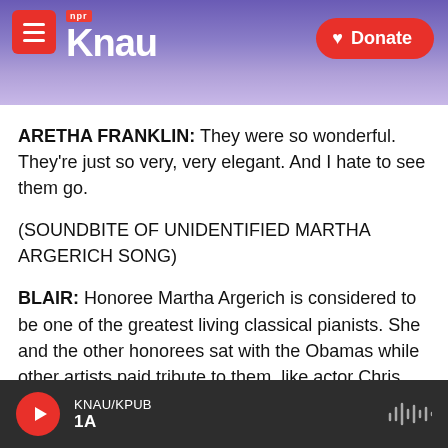[Figure (screenshot): KNAU NPR radio station website header with logo, menu button, and mountain landscape background]
ARETHA FRANKLIN: They were so wonderful. They're just so very, very elegant. And I hate to see them go.
(SOUNDBITE OF UNIDENTIFIED MARTHA ARGERICH SONG)
BLAIR: Honoree Martha Argerich is considered to be one of the greatest living classical pianists. She and the other honorees sat with the Obamas while other artists paid tribute to them, like actor Chris O'Donnell, who talked about working with the very intense Al Pacino.
KNAU/KPUB  1A